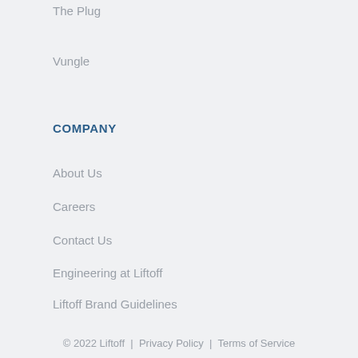The Plug
Vungle
COMPANY
About Us
Careers
Contact Us
Engineering at Liftoff
Liftoff Brand Guidelines
Liftoff Gives
Reporting API
Login
© 2022 Liftoff  |  Privacy Policy  |  Terms of Service